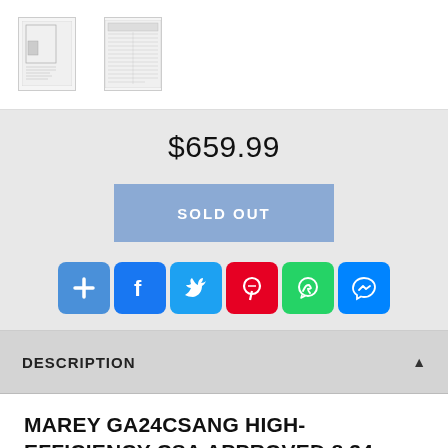[Figure (screenshot): Two thumbnail images of product documents/schematics]
$659.99
SOLD OUT
[Figure (infographic): Row of six social sharing icon buttons: Add+, Facebook, Twitter, Pinterest, WhatsApp, Messenger]
DESCRIPTION
MAREY GA24CSANG HIGH-EFFICIENCY CSA APPROVED 8.34 GPM NATURAL